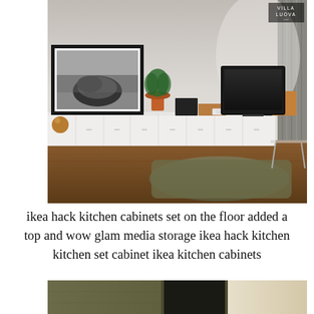[Figure (photo): Modern living room with long low white IKEA kitchen cabinets used as media storage along the wall. On top of the cabinets sits a framed black and white landscape photo, a small potted plant, speakers, a flat-screen TV, and other decorative items. The floor is warm wood. A shaggy olive-green rug sits on the floor in front of a glass coffee table. Gray curtains on the right. A small logo reading 'VILLA LUOVA' appears in the top right corner.]
ikea hack kitchen cabinets set on the floor added a top and wow glam media storage ikea hack kitchen kitchen set cabinet ikea kitchen cabinets
[Figure (photo): Partial view of a room with dark olive/brown walls, a window opening showing a dark interior beyond, and a cream/beige wall panel on the right side.]